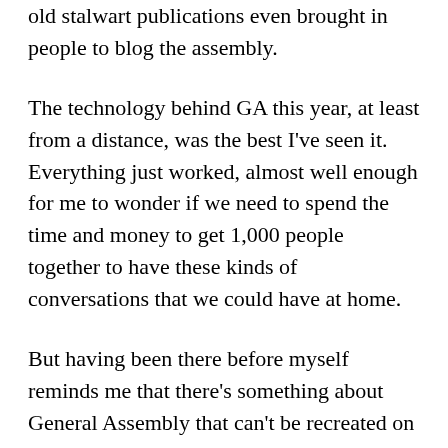old stalwart publications even brought in people to blog the assembly.
The technology behind GA this year, at least from a distance, was the best I've seen it. Everything just worked, almost well enough for me to wonder if we need to spend the time and money to get 1,000 people together to have these kinds of conversations that we could have at home.
But having been there before myself reminds me that there's something about General Assembly that can't be recreated on a computer screen. The people we encounter in person show us the breadth of the church that goes far beyond one congregation, and the something something something and